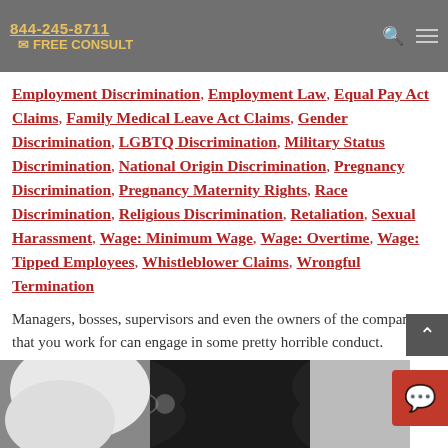844-245-8711 | FREE CONSULT
Employment Discrimination, Employment Law, Equal Pay Act Claims, Family Medical Leave Act Claims, Gender Discrimination, LGBTQ Discrimination, Military Status Discrimination, National Origin Discrimination, Pregnancy Discrimination, Pregnancy Maternity Rights, Race Discrimination, Religious Discrimination, Retaliation, Sexual Harassment, Wage: Minimum Wage, Wage: Overtime, Wage: Tipped Employees, Whistleblower Claims, Wrongful Termination
Managers, bosses, supervisors and even the owners of the companies that you work for can engage in some pretty horrible conduct. Depending on the nature of the conduct and the laws that are involved, it can be very complicated to figure out what course of action, if...
read more
[Figure (photo): Black and white puzzle pieces fitting together, partial view at bottom of page]